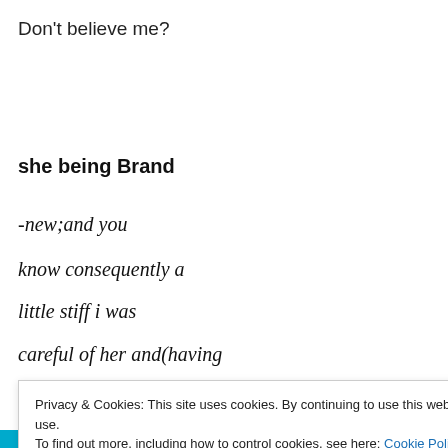Don't believe me?
she being Brand
-new;and you
know consequently a
little stiff i was
careful of her and(having
Privacy & Cookies: This site uses cookies. By continuing to use this website, you agree to their use.
To find out more, including how to control cookies, see here: Cookie Policy
Close and accept